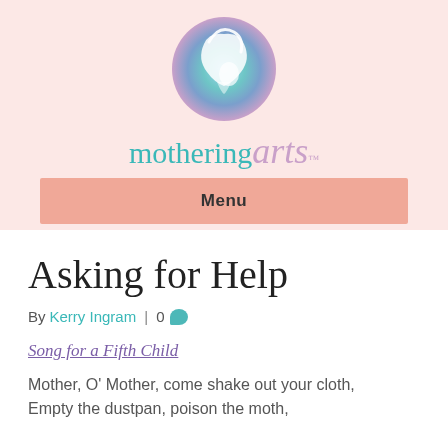[Figure (logo): Mothering Arts logo: circular gradient icon showing a mother and child silhouette in teal and purple tones, with the text 'mothering arts' below in teal and purple italic script with TM mark]
Menu
Asking for Help
By Kerry Ingram | 0 [comment]
Song for a Fifth Child
Mother, O' Mother, come shake out your cloth,
Empty the dustpan, poison the moth,